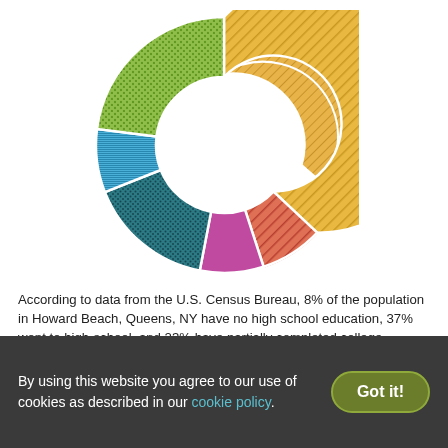[Figure (donut-chart): Education levels in Howard Beach, Queens, NY]
According to data from the U.S. Census Bureau, 8% of the population in Howard Beach, Queens, NY have no high school education, 37% went to high-school, and 23% have partially completed college. Moreover, 8% of the population hold an Associate Degree, 16% hold a Bachelor Degree, and 8% hold a Graduate Degree.
By using this website you agree to our use of cookies as described in our cookie policy.